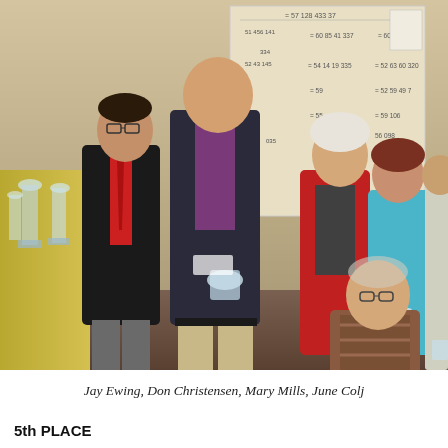[Figure (photo): Group photo of several people standing and one sitting at what appears to be an awards banquet. A man in black jacket and red tie stands at left, next to a tall man in a purple shirt and dark jacket holding a crystal award. Behind them are two women and a man. In the foreground bottom right sits an elderly man in a striped shirt. On the left side are crystal trophies on a table with gold tablecloth. A scoreboard or results board is visible on the wall behind the group.]
Jay Ewing, Don Christensen, Mary Mills, June Colj
5th PLACE